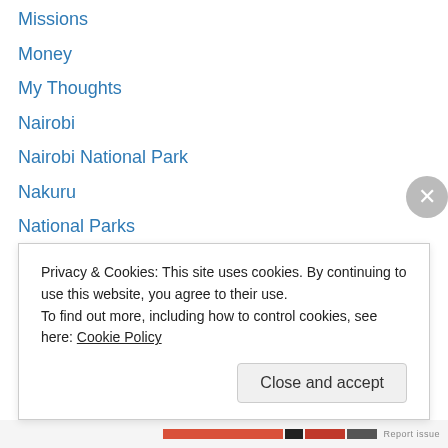Missions
Money
My Thoughts
Nairobi
Nairobi National Park
Nakuru
National Parks
New Zealand Travels
Parenting
Politics
Poverty
Relationships
robbery
running
Privacy & Cookies: This site uses cookies. By continuing to use this website, you agree to their use. To find out more, including how to control cookies, see here: Cookie Policy
Close and accept